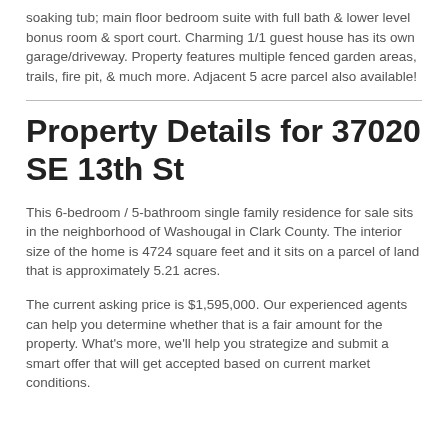soaking tub; main floor bedroom suite with full bath & lower level bonus room & sport court. Charming 1/1 guest house has its own garage/driveway. Property features multiple fenced garden areas, trails, fire pit, & much more. Adjacent 5 acre parcel also available!
Property Details for 37020 SE 13th St
This 6-bedroom / 5-bathroom single family residence for sale sits in the neighborhood of Washougal in Clark County. The interior size of the home is 4724 square feet and it sits on a parcel of land that is approximately 5.21 acres.
The current asking price is $1,595,000. Our experienced agents can help you determine whether that is a fair amount for the property. What's more, we'll help you strategize and submit a smart offer that will get accepted based on current market conditions.